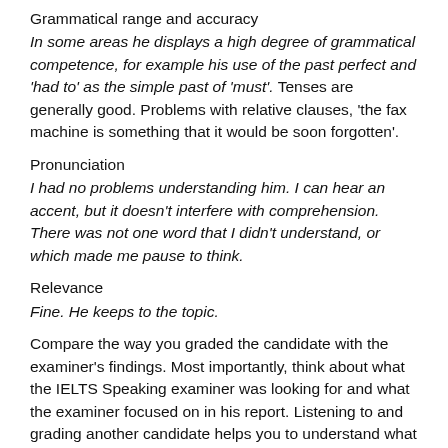Grammatical range and accuracy
In some areas he displays a high degree of grammatical competence, for example his use of the past perfect and 'had to' as the simple past of 'must'. Tenses are generally good. Problems with relative clauses, 'the fax machine is something that it would be soon forgotten'.
Pronunciation
I had no problems understanding him. I can hear an accent, but it doesn't interfere with comprehension. There was not one word that I didn't understand, or which made me pause to think.
Relevance
Fine. He keeps to the topic.
Compare the way you graded the candidate with the examiner's findings. Most importantly, think about what the IELTS Speaking examiner was looking for and what the examiner focused on in his report. Listening to and grading another candidate helps you to understand what the IELTS